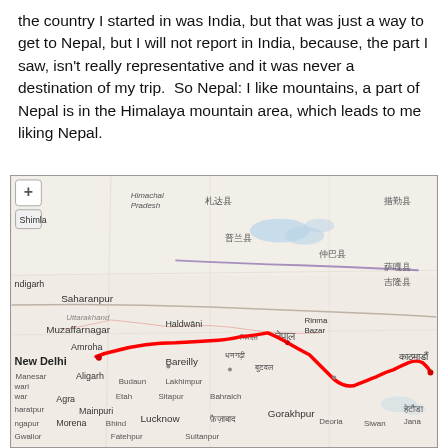the country I started in was India, but that was just a way to get to Nepal, but I will not report in India, because, the part I saw, isn't really representative and it was never a destination of my trip.  So Nepal: I like mountains, a part of  Nepal is in the Himalaya mountain area, which leads to me liking Nepal.
[Figure (map): OpenStreetMap showing northern India and Nepal with a red route line drawn from New Delhi eastward through Bareilly, Lakhimpur, across the Nepal border through Butwal and to Kathmandu. Shows cities like Saharanpur, Muzaffarnagar, Haldwani, Gorakhpur, and Himalayan region labels including Uttarakhand, Uttar Pradesh. Chinese place names visible in the upper Himalayan region.]